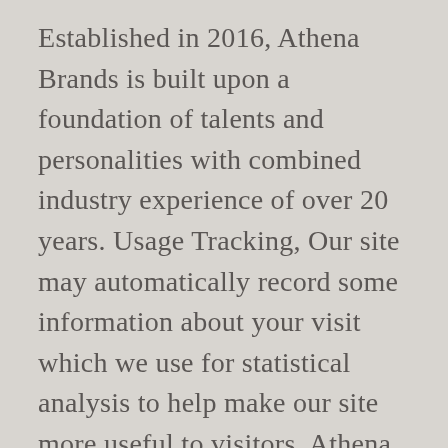Established in 2016, Athena Brands is built upon a foundation of talents and personalities with combined industry experience of over 20 years. Usage Tracking, Our site may automatically record some information about your visit which we use for statistical analysis to help make our site more useful to visitors. Athena Brands brings with it a pool of experienced human resource and a structured corporate work ethic. Athena Brands, LLC filed as a Florida Limited Liability in the State of Florida on Thursday, August 13, 2009 and is approximately eleven years old, as recorded in documents filed with Florida Department of State. Athena (arcade game), a 1986 arcade